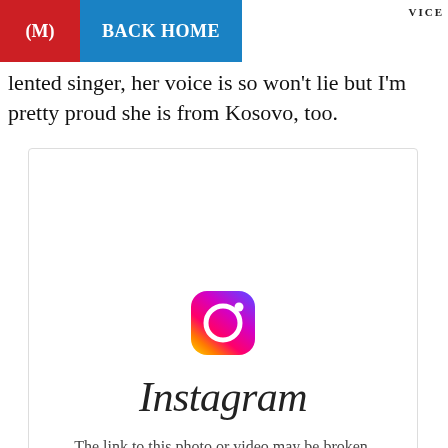(M) BACK HOME VICE
lented singer, her voice is so won't lie but I'm pretty proud she is from Kosovo, too.
[Figure (screenshot): An embedded Instagram placeholder showing the Instagram camera icon logo and wordmark, with the message: 'The link to this photo or video may be broken, or the post may have been removed.']